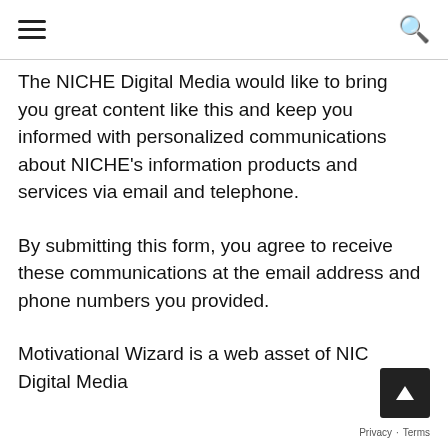≡  🔍
The NICHE Digital Media would like to bring you great content like this and keep you informed with personalized communications about NICHE's information products and services via email and telephone.
By submitting this form, you agree to receive these communications at the email address and phone numbers you provided.
Motivational Wizard is a web asset of NICHE Digital Media